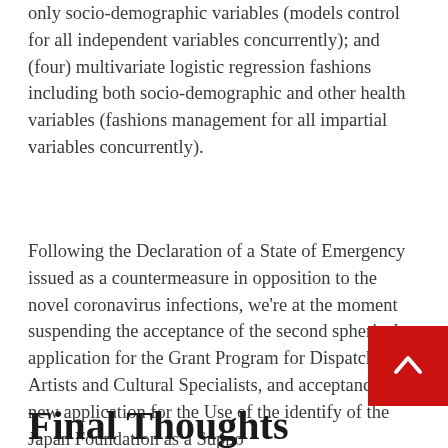only socio-demographic variables (models control for all independent variables concurrently); and (four) multivariate logistic regression fashions including both socio-demographic and other health variables (fashions management for all impartial variables concurrently).
Following the Declaration of a State of Emergency issued as a countermeasure in opposition to the novel coronavirus infections, we're at the moment suspending the acceptance of the second spherical application for the Grant Program for Dispatching Artists and Cultural Specialists, and acceptance of new application for the Use of the identify of the Japan Foundation as a Suppo...
Final Thoughts